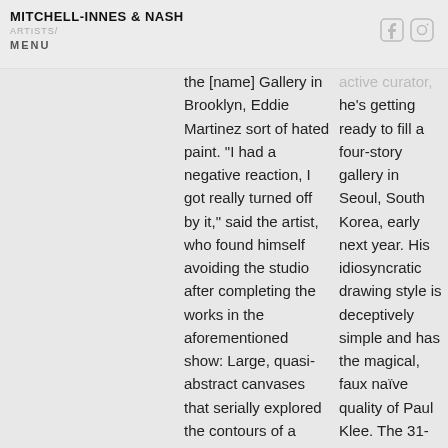MITCHELL-INNES & NASH
ARTISTS/
MENU
the [name] Gallery in Brooklyn, Eddie Martinez sort of hated paint. "I had a negative reaction, I got really turned off by it," said the artist, who found himself avoiding the studio after completing the works in the aforementioned show: Large, quasi-abstract canvases that serially explored the contours of a Picasso-esque bull.
active curator, he's getting ready to fill a four-story gallery in Seoul, South Korea, early next year. His idiosyncratic drawing style is deceptively simple and has the magical, faux naïve quality of Paul Klee. The 31-year-old's large studio in Williamsburg, Brooklyn, is filled with ceramic miniatures he's been